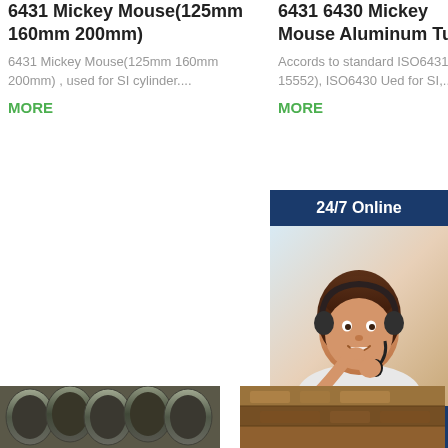6431 Mickey Mouse(125mm 160mm 200mm)
6431 Mickey Mouse(125mm 160mm 200mm) , used for SI cylinder....
MORE
6431 6430 Mickey Mouse Aluminum Tube
Accords to standard ISO6431 (ISO 15552), ISO6430 Ued for SI,...
MORE
[Figure (photo): 24/7 Online widget with customer service representative photo, 'Have any requests, click here.' text, and Quotation button]
[Figure (photo): Bottom left product photo showing metal tubes/cylinders]
[Figure (photo): Bottom right product photo showing industrial materials]